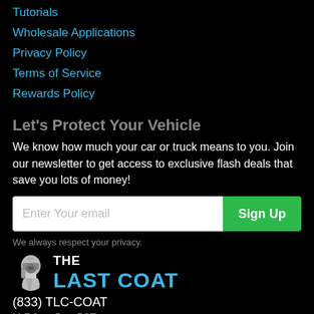Tutorials
Wholesale Applications
Privacy Policy
Terms of Service
Rewards Policy
Let's Protect Your Vehicle
We know how much your car or truck means to you. Join our newsletter to get access to exclusive flash deals that save you lots of money!
Enter Your email
Sign Up
We always respect your privacy.
[Figure (logo): The Last Coat brand logo with a Spartan helmet icon and text 'THE LAST COAT' in white and cyan]
(833) TLC-COAT
M-F 9am-5pm PST